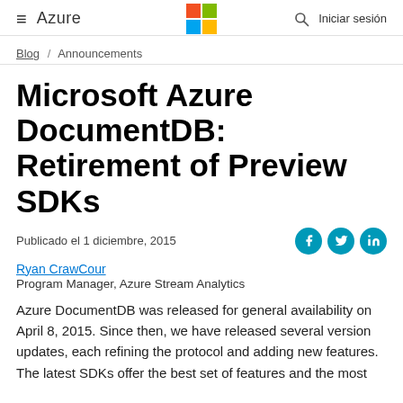≡ Azure | Microsoft logo | 🔍 | Iniciar sesión
Blog / Announcements
Microsoft Azure DocumentDB: Retirement of Preview SDKs
Publicado el 1 diciembre, 2015
Ryan CrawCour
Program Manager, Azure Stream Analytics
Azure DocumentDB was released for general availability on April 8, 2015. Since then, we have released several version updates, each refining the protocol and adding new features. The latest SDKs offer the best set of features and the most